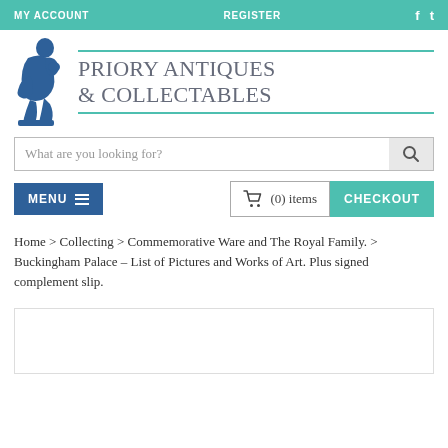MY ACCOUNT   REGISTER   f   t
[Figure (logo): Priory Antiques & Collectables logo with blue Thinker statue silhouette and brand name in grey serif font flanked by teal horizontal lines]
What are you looking for?
MENU  🔳  (0) items  CHECKOUT
Home > Collecting > Commemorative Ware and The Royal Family. > Buckingham Palace – List of Pictures and Works of Art. Plus signed complement slip.
[Figure (photo): Empty white image box at bottom of page]